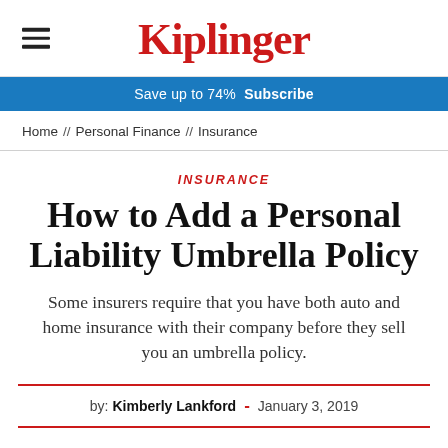Kiplinger
Save up to 74%  Subscribe
Home // Personal Finance // Insurance
INSURANCE
How to Add a Personal Liability Umbrella Policy
Some insurers require that you have both auto and home insurance with their company before they sell you an umbrella policy.
by: Kimberly Lankford  -  January 3, 2019